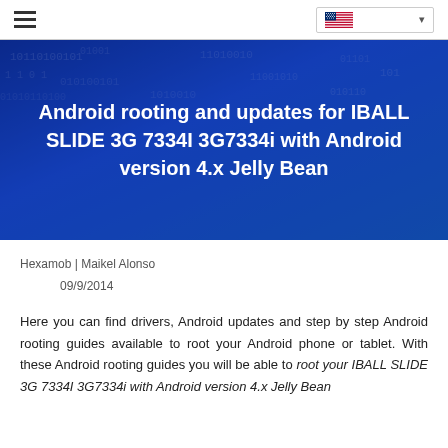hamburger menu | language selector (US flag)
[Figure (illustration): Blue digital binary code banner background with white bold text title overlay]
Android rooting and updates for IBALL SLIDE 3G 7334I 3G7334i with Android version 4.x Jelly Bean
Hexamob | Maikel Alonso
09/9/2014
Here you can find drivers, Android updates and step by step Android rooting guides available to root your Android phone or tablet. With these Android rooting guides you will be able to root your IBALL SLIDE 3G 7334I 3G7334i with Android version 4.x Jelly Bean